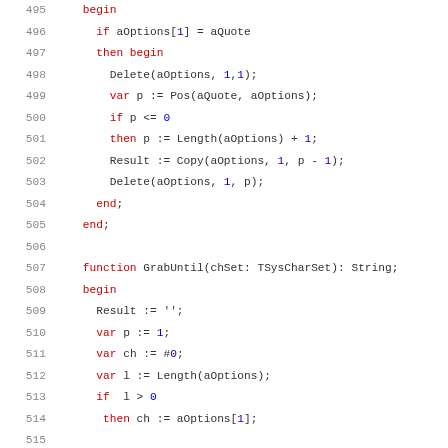[Figure (screenshot): Source code listing in Pascal/Delphi syntax, lines 495-517, showing code for string parsing with quoted options and a GrabUntil function. Keywords in red, numeric literals/identifiers in blue, other code in dark/black monospace font.]